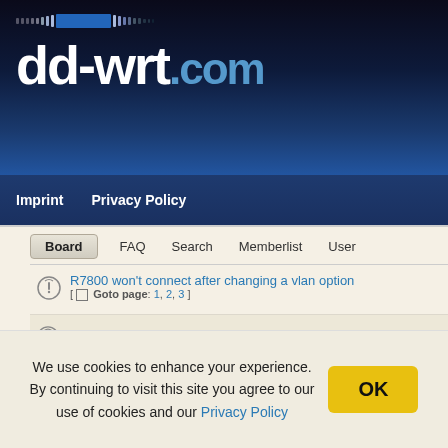[Figure (logo): dd-wrt.com logo on dark blue gradient background with dot-dash decorative bar]
Imprint   Privacy Policy
Board   FAQ   Search   Memberlist   User
R7800 won't connect after changing a vlan option [ Goto page: 1, 2, 3 ]
How to set up VLANs on a R7800 using only the GUI
New Build - 08/23/2022 - r49838
Disassoc low ack on R7800
SwapOn r7800
We use cookies to enhance your experience. By continuing to visit this site you agree to our use of cookies and our Privacy Policy